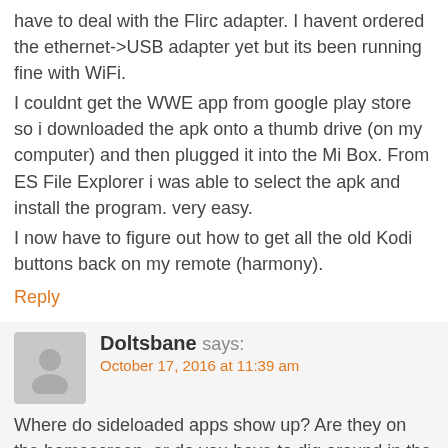have to deal with the Flirc adapter. I havent ordered the ethernet->USB adapter yet but its been running fine with WiFi.
I couldnt get the WWE app from google play store so i downloaded the apk onto a thumb drive (on my computer) and then plugged it into the Mi Box. From ES File Explorer i was able to select the apk and install the program. very easy.
I now have to figure out how to get all the old Kodi buttons back on my remote (harmony).
Reply
Doltsbane says:
October 17, 2016 at 11:39 am
Where do sideloaded apps show up? Are they on the homescreen, or do you have to dig around in the menus to find them? Can I use a different launcher?
Reply
Dave Ninja says:
October 17, 2016 at 4:28 pm